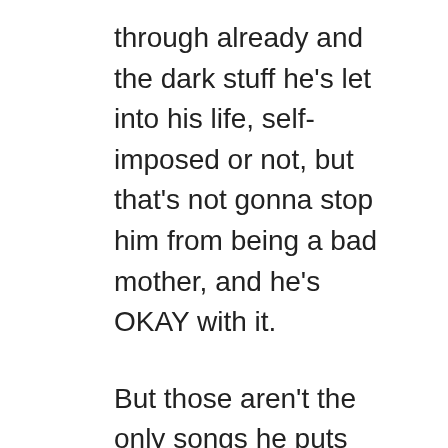through already and the dark stuff he's let into his life, self-imposed or not, but that's not gonna stop him from being a bad mother, and he's OKAY with it.
But those aren't the only songs he puts together. The song A Little More is about the stresses of life, and not being silent about pain, depression, and suicidal thoughts. Being mindful of others and extending love wherever you can.
General Admission is ambitious in a lot of fun ways, and reminds me of his influencers in a lot of little ways. Some of the reviews on this album have been negative, but I think that's